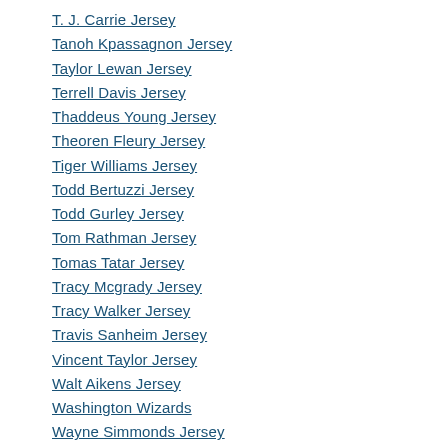T. J. Carrie Jersey
Tanoh Kpassagnon Jersey
Taylor Lewan Jersey
Terrell Davis Jersey
Thaddeus Young Jersey
Theoren Fleury Jersey
Tiger Williams Jersey
Todd Bertuzzi Jersey
Todd Gurley Jersey
Tom Rathman Jersey
Tomas Tatar Jersey
Tracy Mcgrady Jersey
Tracy Walker Jersey
Travis Sanheim Jersey
Vincent Taylor Jersey
Walt Aikens Jersey
Washington Wizards
Wayne Simmonds Jersey
Worley Matthews Jersey